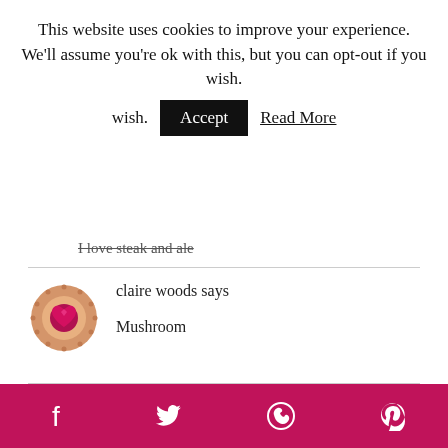This website uses cookies to improve your experience. We'll assume you're ok with this, but you can opt-out if you wish. Accept Read More
I love steak and ale
claire woods says
Mushroom
[Figure (infographic): Social sharing bar with Facebook, Twitter, WhatsApp, and Pinterest icons on a dark pink/magenta background]